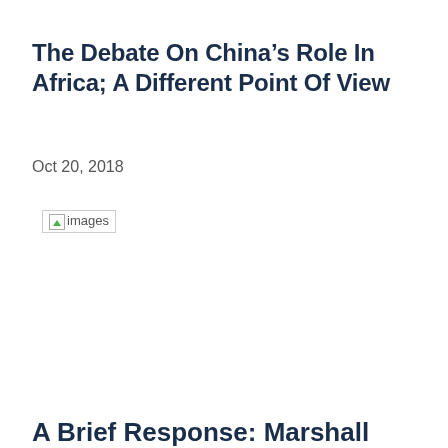The Debate On China's Role In Africa; A Different Point Of View
Oct 20, 2018
[Figure (photo): Broken/placeholder image labeled 'images']
A Brief Response: Marshall